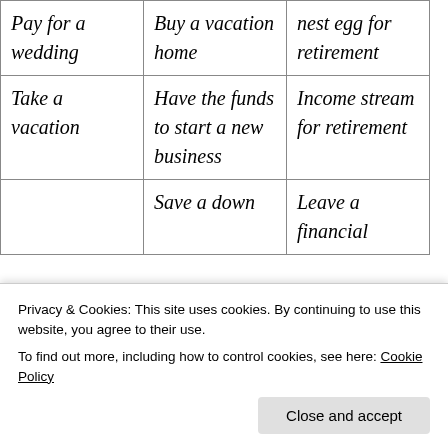| Pay for a wedding | Buy a vacation home | nest egg for retirement |
| Take a vacation | Have the funds to start a new business | Income stream for retirement |
|  | Save a down | Leave a financial |
Privacy & Cookies: This site uses cookies. By continuing to use this website, you agree to their use.
To find out more, including how to control cookies, see here: Cookie Policy